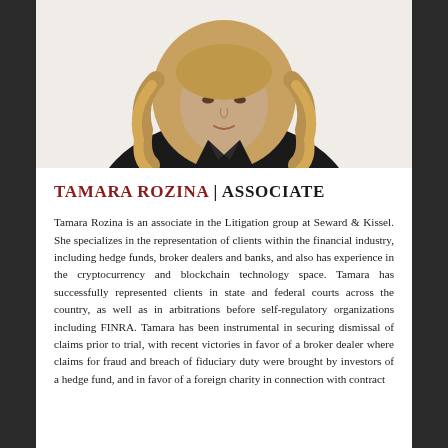[Figure (photo): Professional headshot of Tamara Rozina, a woman with long blonde wavy hair wearing a black blazer and a delicate necklace, photographed against a white background.]
TAMARA ROZINA | ASSOCIATE
Tamara Rozina is an associate in the Litigation group at Seward & Kissel. She specializes in the representation of clients within the financial industry, including hedge funds, broker dealers and banks, and also has experience in the cryptocurrency and blockchain technology space. Tamara has successfully represented clients in state and federal courts across the country, as well as in arbitrations before self-regulatory organizations including FINRA. Tamara has been instrumental in securing dismissal of claims prior to trial, with recent victories in favor of a broker dealer where claims for fraud and breach of fiduciary duty were brought by investors of a hedge fund, and in favor of a foreign charity in connection with contract